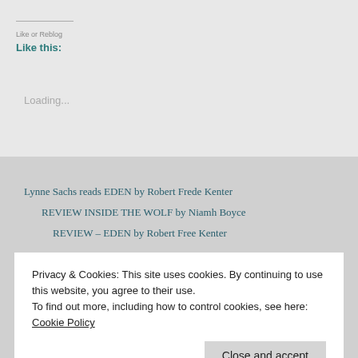Like or Reblog
Like this:
Loading...
Lynne Sachs reads EDEN by Robert Frede Kenter
REVIEW INSIDE THE WOLF by Niamh Boyce
REVIEW – EDEN by Robert Free Kenter
Privacy & Cookies: This site uses cookies. By continuing to use this website, you agree to their use.
To find out more, including how to control cookies, see here: Cookie Policy
Close and accept